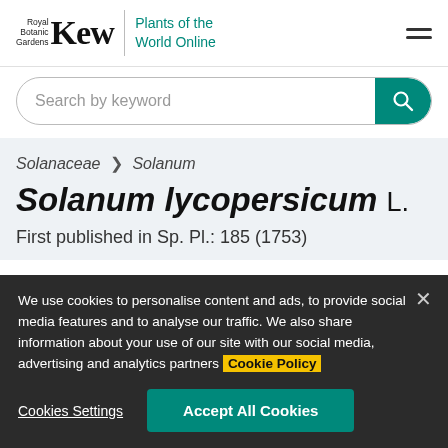Royal Botanic Gardens Kew | Plants of the World Online
Search by keyword
Solanaceae > Solanum
Solanum lycopersicum L.
First published in Sp. Pl.: 185 (1753)
We use cookies to personalise content and ads, to provide social media features and to analyse our traffic. We also share information about your use of our site with our social media, advertising and analytics partners Cookie Policy
Cookies Settings
Accept All Cookies